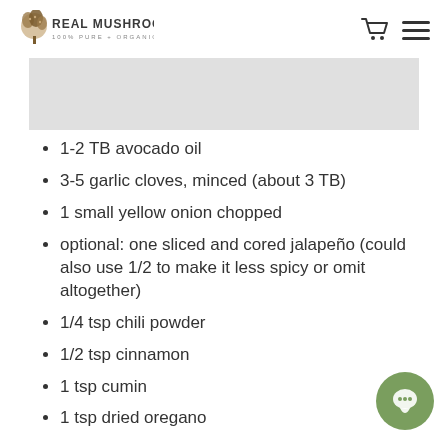REAL MUSHROOMS 100% PURE + ORGANIC
[Figure (photo): Gray banner image placeholder at top of page]
1-2 TB avocado oil
3-5 garlic cloves, minced (about 3 TB)
1 small yellow onion chopped
optional: one sliced and cored jalapeño (could also use 1/2 to make it less spicy or omit altogether)
1/4 tsp chili powder
1/2 tsp cinnamon
1 tsp cumin
1 tsp dried oregano